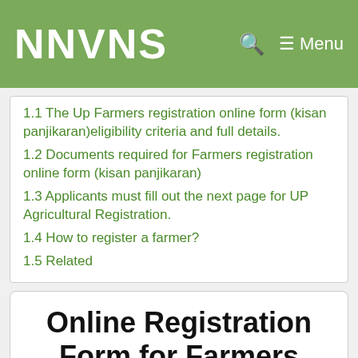NNVNS
1.1 The Up Farmers registration online form (kisan panjikaran)eligibility criteria and full details.
1.2 Documents required for Farmers registration online form (kisan panjikaran)
1.3 Applicants must fill out the next page for UP Agricultural Registration.
1.4 How to register a farmer?
1.5 Related
Online Registration Form for Farmers registration online form (kisan panjikaran)